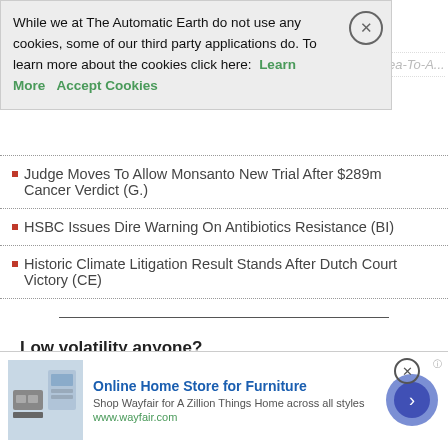While we at The Automatic Earth do not use any cookies, some of our third party applications do. To learn more about the cookies click here: Learn More  Accept Cookies
Judge Moves To Allow Monsanto New Trial After $289m Cancer Verdict (G.)
HSBC Issues Dire Warning On Antibiotics Resistance (BI)
Historic Climate Litigation Result Stands After Dutch Court Victory (CE)
Low volatility anyone?
Dow Tumbles 830 Points In One Day, Trump Says The Fed Has
[Figure (other): Advertisement banner for Wayfair Online Home Store for Furniture with product image and arrow button]